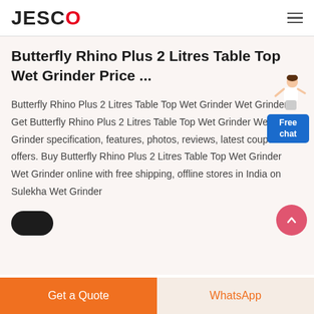JESCO
Butterfly Rhino Plus 2 Litres Table Top Wet Grinder Price ...
Butterfly Rhino Plus 2 Litres Table Top Wet Grinder Wet Grinder - Get Butterfly Rhino Plus 2 Litres Table Top Wet Grinder Wet Grinder specification, features, photos, reviews, latest coupons & offers. Buy Butterfly Rhino Plus 2 Litres Table Top Wet Grinder Wet Grinder online with free shipping, offline stores in India on Sulekha Wet Grinder
[Figure (illustration): Free chat widget with a woman figure and a blue button labeled 'Free chat']
[Figure (illustration): Scroll-up circular pink/red button with upward chevron arrow]
[Figure (illustration): Dark rounded button partially visible at the bottom left of content area]
Get a Quote | WhatsApp